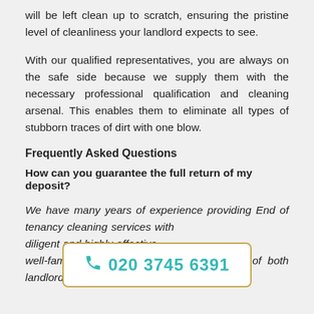will be left clean up to scratch, ensuring the pristine level of cleanliness your landlord expects to see.
With our qualified representatives, you are always on the safe side because we supply them with the necessary professional qualification and cleaning arsenal. This enables them to eliminate all types of stubborn traces of dirt with one blow.
Frequently Asked Questions
How can you guarantee the full return of my deposit?
We have many years of experience providing End of tenancy cleaning services with diligent and highly-effective well-familiar with the cleaning requirements of both landlords and
[Figure (other): Phone number call-to-action box with teal phone icon and number 020 3745 6391, bordered with golden/tan outline on white background]